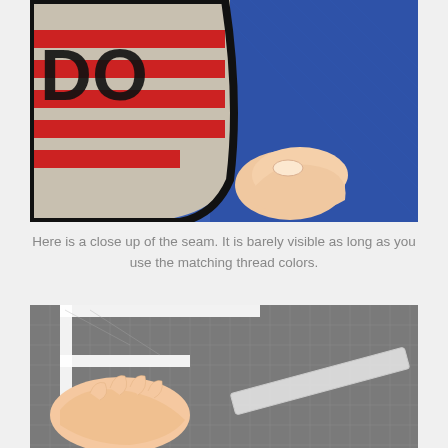[Figure (photo): Close-up photo of an embroidered patch with black lettering on red background, being held against blue fabric, showing the seam where the patch meets the fabric.]
Here is a close up of the seam. It is barely visible as long as you use the matching thread colors.
[Figure (photo): Photo of a hand using a craft tool or ruler on a cutting mat, with a white letter/shape template being traced or cut on a green gridded cutting mat.]